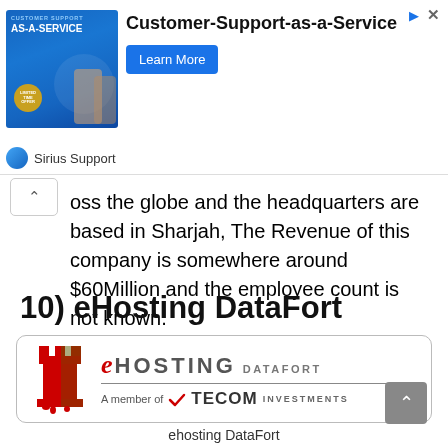[Figure (other): Advertisement banner: Customer-Support-as-a-Service ad with image of business people, Learn More button, Sirius Support sponsor]
oss the globe and the headquarters are based in Sharjah, The Revenue of this company is somewhere around $60Million and the employee count is not known.
10) eHosting DataFort
[Figure (logo): eHosting DataFort logo - red stylized chess rook icon with eHOSTING DATAFORT text and 'A member of TECOM INVESTMENTS' tagline]
ehosting DataFort